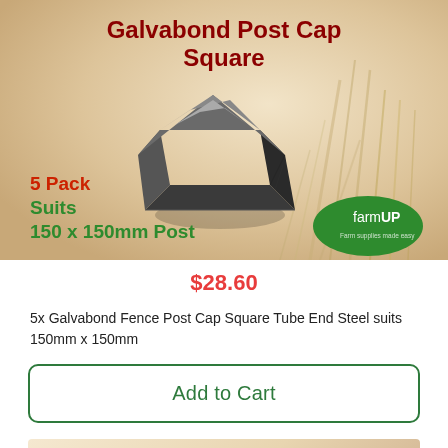[Figure (photo): Product image of a square galvabond steel post cap (dark metallic color, pyramid shape) on a warm beige/wheat background with text overlay: '5 Pack', 'Suits', '150 x 150mm Post', and farmUP logo badge]
$28.60
5x Galvabond Fence Post Cap Square Tube End Steel suits 150mm x 150mm
Add to Cart
Galvabond Post Cap